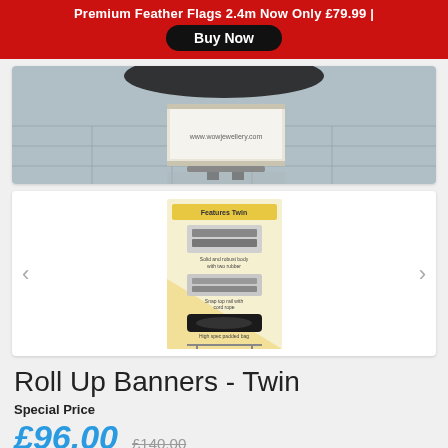Premium Feather Flags 2.4m Now Only £79.99 | Buy Now
[Figure (photo): Product photo showing a roll-up banner stand displayed in a showroom/car dealership setting with a jewelry website URL visible]
[Figure (photo): Product image of a twin roll-up banner stand showing features: solid and robust body with two rubber, snap top rail with cord rope, high spec padded bag]
Roll Up Banners - Twin
Special Price
£96.00
£140.00